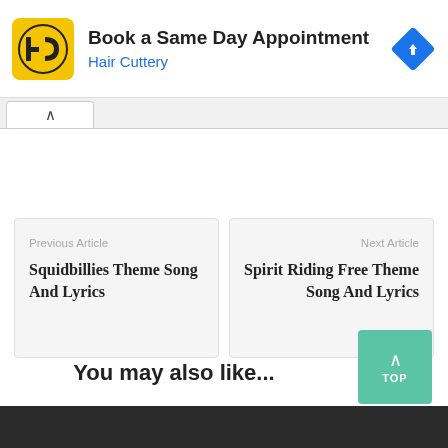[Figure (screenshot): Hair Cuttery advertisement banner with yellow logo, text 'Book a Same Day Appointment', 'Hair Cuttery' in blue, and a blue diamond navigation icon]
Previous Article
Squidbillies Theme Song And Lyrics
Next Article
Spirit Riding Free Theme Song And Lyrics
You may also like...